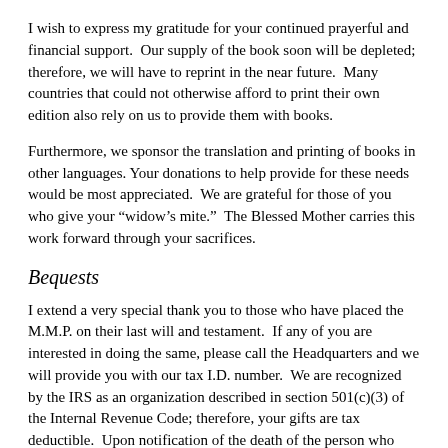I wish to express my gratitude for your continued prayerful and financial support.  Our supply of the book soon will be depleted; therefore, we will have to reprint in the near future.  Many countries that could not otherwise afford to print their own edition also rely on us to provide them with books.
Furthermore, we sponsor the translation and printing of books in other languages. Your donations to help provide for these needs would be most appreciated.  We are grateful for those of you who give your “widow’s mite.”  The Blessed Mother carries this work forward through your sacrifices.
Bequests
I extend a very special thank you to those who have placed the M.M.P. on their last will and testament.  If any of you are interested in doing the same, please call the Headquarters and we will provide you with our tax I.D. number.  We are recognized by the IRS as an organization described in section 501(c)(3) of the Internal Revenue Code; therefore, your gifts are tax deductible.  Upon notification of the death of the person who made the bequest, Masses will be celebrated for the repose of the soul of the deceased.
Granted, Co... [partial text continues]